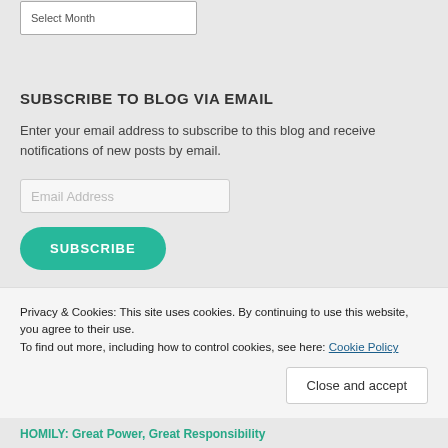Select Month
SUBSCRIBE TO BLOG VIA EMAIL
Enter your email address to subscribe to this blog and receive notifications of new posts by email.
Email Address
SUBSCRIBE
Privacy & Cookies: This site uses cookies. By continuing to use this website, you agree to their use.
To find out more, including how to control cookies, see here: Cookie Policy
Close and accept
HOMILY: Great Power, Great Responsibility